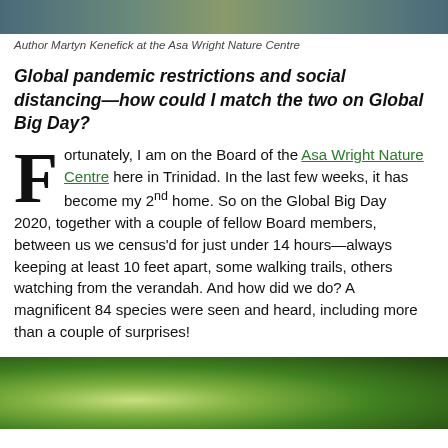[Figure (photo): Top portion of a photo showing Author Martyn Kenefick at the Asa Wright Nature Centre]
Author Martyn Kenefick at the Asa Wright Nature Centre
Global pandemic restrictions and social distancing—how could I match the two on Global Big Day?
Fortunately, I am on the Board of the Asa Wright Nature Centre here in Trinidad. In the last few weeks, it has become my 2nd home. So on the Global Big Day 2020, together with a couple of fellow Board members, between us we census'd for just under 14 hours—always keeping at least 10 feet apart, some walking trails, others watching from the verandah. And how did we do? A magnificent 84 species were seen and heard, including more than a couple of surprises!
[Figure (photo): Bottom photo showing close-up of green leaves with a bird partially visible]